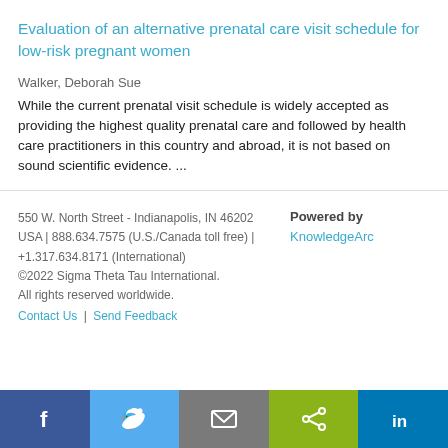Evaluation of an alternative prenatal care visit schedule for low-risk pregnant women
Walker, Deborah Sue
While the current prenatal visit schedule is widely accepted as providing the highest quality prenatal care and followed by health care practitioners in this country and abroad, it is not based on sound scientific evidence. ...
550 W. North Street - Indianapolis, IN 46202 USA | 888.634.7575 (U.S./Canada toll free) | +1.317.634.8171 (International) ©2022 Sigma Theta Tau International. All rights reserved worldwide. Contact Us | Send Feedback  Powered by KnowledgeArc
[Figure (other): Social media sharing buttons: Facebook, Twitter, Email, Share, LinkedIn]